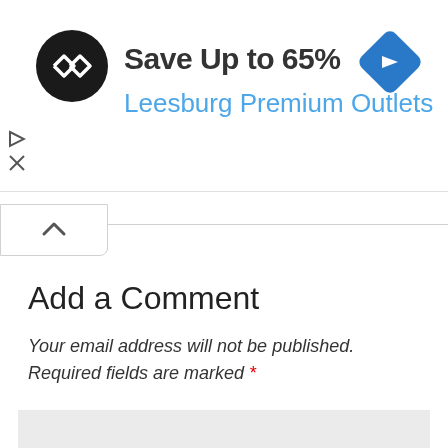[Figure (screenshot): Mobile advertisement banner showing a black circle logo with double arrow symbol, text 'Save Up to 65% Leesburg Premium Outlets', a blue diamond navigation icon on the right, and play/close controls on the left edge]
Add a Comment
Your email address will not be published. Required fields are marked *